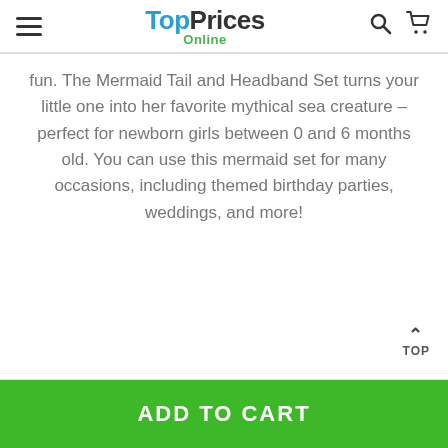TopPrices Online
fun. The Mermaid Tail and Headband Set turns your little one into her favorite mythical sea creature – perfect for newborn girls between 0 and 6 months old. You can use this mermaid set for many occasions, including themed birthday parties, weddings, and more!
TOP
ADD TO CART